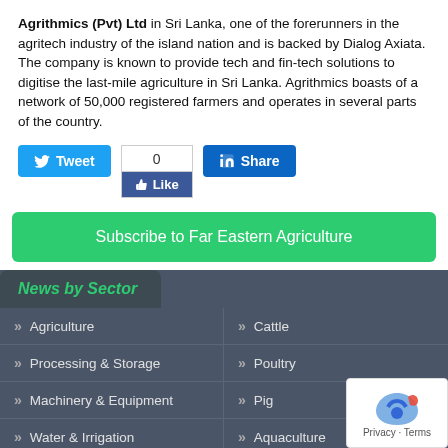Agrithmics (Pvt) Ltd in Sri Lanka, one of the forerunners in the agritech industry of the island nation and is backed by Dialog Axiata. The company is known to provide tech and fin-tech solutions to digitise the last-mile agriculture in Sri Lanka. Agrithmics boasts of a network of 50,000 registered farmers and operates in several parts of the country.
[Figure (other): Social sharing buttons: Tweet (Twitter), 0 / Like (Facebook), Share (LinkedIn)]
Subscribe to Far Eastern Agriculture
News by Sector
Agriculture
Cattle
Processing & Storage
Poultry
Machinery & Equipment
Pig
Water & Irrigation
Aquaculture
Infrastructure
Food & Commodity